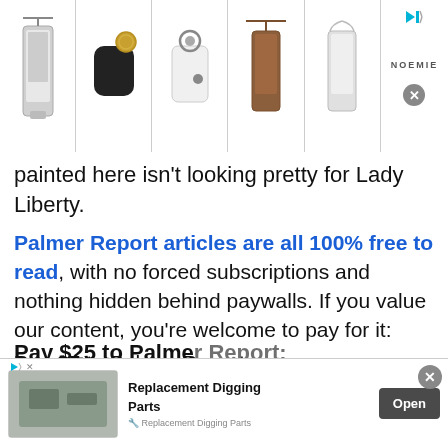[Figure (photo): Top advertisement banner showing phone cases and accessories (crossbody phone cases, AirPods case with keyring, white bag with ring handle, brown crossbody case, white lanyard case) with NOEMIE branding and close/skip controls]
painted here isn't looking pretty for Lady Liberty.
Palmer Report articles are all 100% free to read, with no forced subscriptions and nothing hidden behind paywalls. If you value our content, you're welcome to pay for it:
Pay $5 to Palmer Report:
[Figure (other): PayPal Donate button (yellow rounded rectangle) with card icons (Visa, Mastercard, blue circle) and a red oval 'Help Palmer' button overlaid]
Pay $25 to Palmer Report:
[Figure (photo): Bottom advertisement for Replacement Digging Parts showing equipment parts image with Open button]